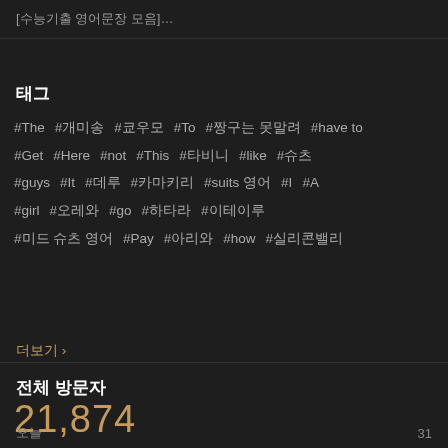[수능기출 영어문장 모음]…
태그
#The #개미송 #쿄우모 #To #짱구는 못말려 #have to #Get #Here #not #This #타비니 #like #슈츠 #guys #It #데루 #카마키리 #suits 영어 #I #A #girl #오레와 #go #하타라 #이테이루 #미드 슈츠 영어 #Pay #아리와 #how #실리콘밸리
더보기 >
전체 방문자
21,874
오늘                                                31